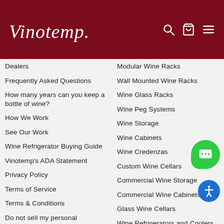Vinotemp
Dealers
Frequently Asked Questions
How many years can you keep a bottle of wine?
How We Work
See Our Work
Wine Refrigerator Buying Guide
Vinotemp's ADA Statement
Privacy Policy
Terms of Service
Terms & Conditions
Do not sell my personal information
Modular Wine Racks
Wall Mounted Wine Racks
Wine Glass Racks
Wine Peg Systems
Wine Storage
Wine Cabinets
Wine Credenzas
Custom Wine Cellars
Commercial Wine Storage
Commercial Wine Cabinets
Glass Wine Cellars
Wine Refrigerators and Coolers
Built-In Wine Refrigerators
Commercial Wine Refrigerators